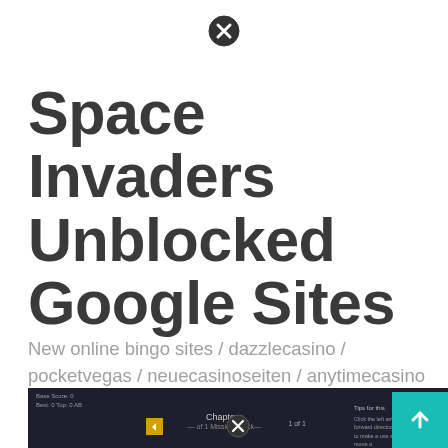[Figure (other): Close/cancel button icon (circle with X) at the top center of the page]
Space Invaders Unblocked Google Sites
New online bingo sites / dazzlecasino / pocketvegas / neuecasinoseiten / anytimecasino / local bingo halls. Whether it's donkey kong, frogger, street fighter, or tapper.
[Figure (screenshot): Screenshot of a dark-themed web application or game interface showing chapter navigation with a yellow left arrow button, a close (X) button in the center, a page counter, and a right panel with descriptive text. A teal/turquoise scroll-to-top arrow button appears in the bottom right corner.]